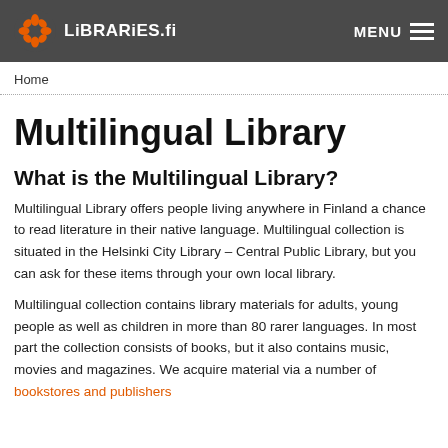LIBRARIES.fi  MENU
Home
Multilingual Library
What is the Multilingual Library?
Multilingual Library offers people living anywhere in Finland a chance to read literature in their native language. Multilingual collection is situated in the Helsinki City Library – Central Public Library, but you can ask for these items through your own local library.
Multilingual collection contains library materials for adults, young people as well as children in more than 80 rarer languages. In most part the collection consists of books, but it also contains music, movies and magazines. We acquire material via a number of bookstores and publishers